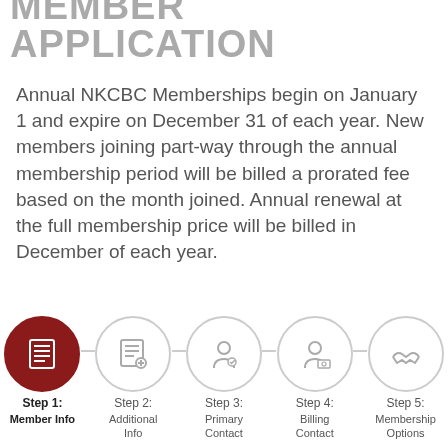MEMBER APPLICATION
Annual NKCBC Memberships begin on January 1 and expire on December 31 of each year. New members joining part-way through the annual membership period will be billed a prorated fee based on the month joined. Annual renewal at the full membership price will be billed in December of each year.
[Figure (infographic): Five-step membership application progress indicator with circular icons. Step 1 (Member Info) is active with dark red filled circle. Steps 2-5 (Additional Info, Primary Contact, Billing Contact, Membership Options) are inactive with light gray outlined circles.]